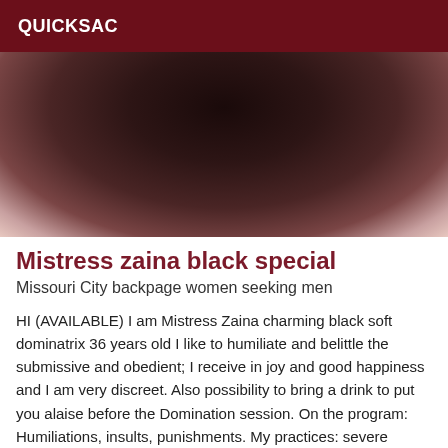QUICKSAC
[Figure (photo): Cropped photo showing a person from waist down wearing dark clothing, partial body visible against a light background]
Mistress zaina black special
Missouri City backpage women seeking men
HI (AVAILABLE) I am Mistress Zaina charming black soft dominatrix 36 years old I like to humiliate and belittle the submissive and obedient; I receive in joy and good happiness and I am very discreet. Also possibility to bring a drink to put you alaise before the Domination session. On the program: Humiliations, insults, punishments. My practices: severe spankings with the Hand, swift, ruler, whip, whip and stick. Slaps, slaps on the balls with the foot, champagne, Facesitting, cunni, dildoing, nipple clamps, kneeling or tied, kneeling facing the wall, hands on the head in a room with light, candle